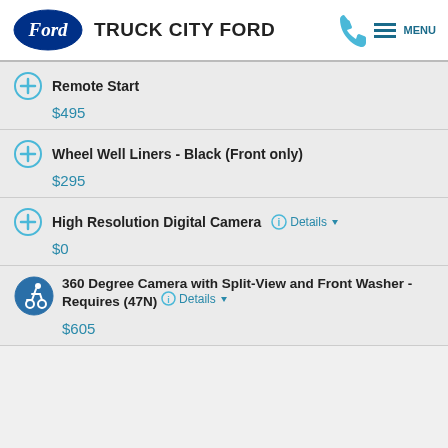TRUCK CITY FORD
Remote Start — $495
Wheel Well Liners - Black (Front only) — $295
High Resolution Digital Camera — $0
360 Degree Camera with Split-View and Front Washer - Requires (47N) — $605